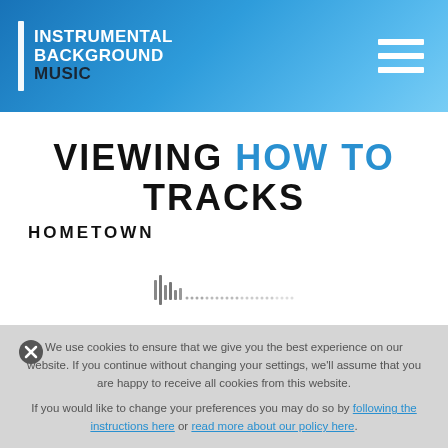INSTRUMENTAL BACKGROUND MUSIC
VIEWING HOW TO TRACKS
HOMETOWN
[Figure (other): Audio waveform visualization showing small bars and dots representing a music track]
We use cookies to ensure that we give you the best experience on our website. If you continue without changing your settings, we'll assume that you are happy to receive all cookies from this website. If you would like to change your preferences you may do so by following the instructions here or read more about our policy here.